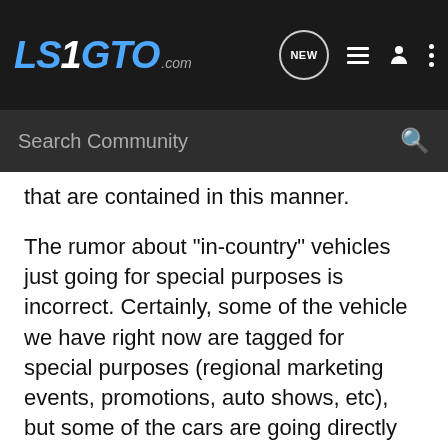LS1GTO.com
Search Community
that are contained in this manner.
The rumor about "in-country" vehicles just going for special purposes is incorrect. Certainly, some of the vehicle we have right now are tagged for special purposes (regional marketing events, promotions, auto shows, etc), but some of the cars are going directly into the hands of dealers and customers. It all just depends on when a particular order is loaded on what ship. While I have no doubt that some dealers may be reluctant to give up their first GTO off the floor, the good dealers are going